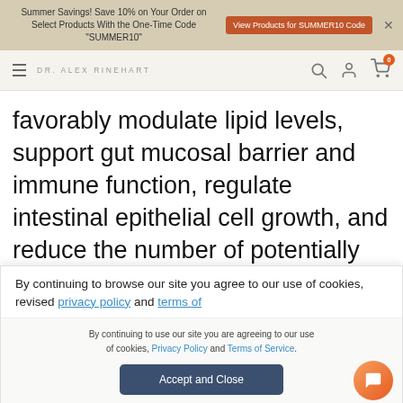Summer Savings! Save 10% on Your Order on Select Products With the One-Time Code "SUMMER10" | View Products for SUMMER10 Code
DR. ALEX RINEHART
favorably modulate lipid levels, support gut mucosal barrier and immune function, regulate intestinal epithelial cell growth, and reduce the number of potentially undesirable bacterial species.
By continuing to browse our site you agree to our use of cookies, revised privacy policy and terms of
By continuing to use our site you are agreeing to our use of cookies, Privacy Policy and Terms of Service.